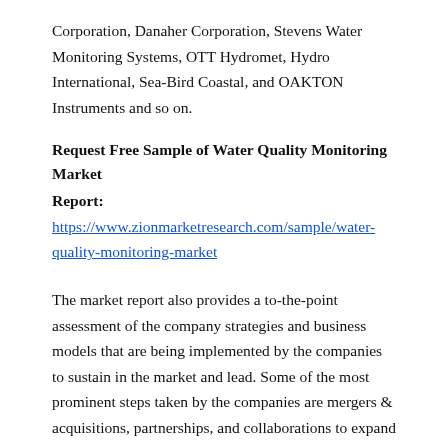Corporation, Danaher Corporation, Stevens Water Monitoring Systems, OTT Hydromet, Hydro International, Sea-Bird Coastal, and OAKTON Instruments and so on.
Request Free Sample of Water Quality Monitoring Market Report: https://www.zionmarketresearch.com/sample/water-quality-monitoring-market
The market report also provides a to-the-point assessment of the company strategies and business models that are being implemented by the companies to sustain in the market and lead. Some of the most prominent steps taken by the companies are mergers & acquisitions, partnerships, and collaborations to expand their regional as well as global reach. In addition, players are also introducing new products to reign in the market.